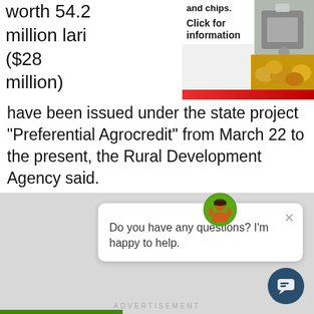worth 54.2 million lari ($28 million) have been issued under the state project “Preferential Agrocredit” from March 22 to the present, the Rural Development Agency said. The Agency co-finances the 12-month interest rate of the loan within the framework of the “Preferential Agricultural Credit” project at a rate of 9% per annum.
[Figure (screenshot): Advertisement banner for potato processing equipment and chips with machine image and potato photo, red bar, and 'Click for information' text]
[Figure (screenshot): Chat widget popup with farmer avatar icon, close button, and message 'Do you have any questions? I’m happy to help.' with dark blue circular chat button in bottom right]
ADVERTISEMENT